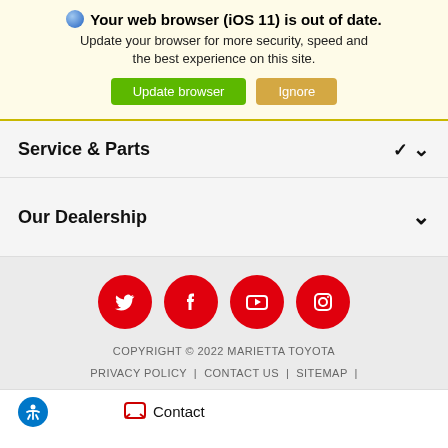Your web browser (iOS 11) is out of date. Update your browser for more security, speed and the best experience on this site. [Update browser] [Ignore]
Service & Parts
Our Dealership
[Figure (infographic): Four red circular social media icons: Twitter, Facebook, YouTube, Instagram]
COPYRIGHT © 2022 MARIETTA TOYOTA
PRIVACY POLICY | CONTACT US | SITEMAP |
Contact